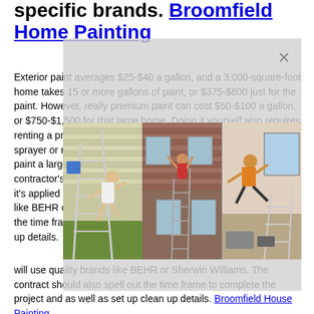specific brands. Broomfield Home Painting
Exterior paint averages $25-$40 a gallon, and a 3,000-square-foot home takes 15 or more gallons of paint, or $375-$600 just for the paint. However, really premium paint can cost $50-$100 a gallon, or $750-$1,500 for that large home. Doing it yourself also requires renting a pressure washer, ladders or scaffolding, and a paint sprayer or roller assembly, plus masking materials. It's possible to paint a large home for under $600. Once you review a detailed contractor's contract, make sure labor and paint they use and how it's applied as well. Most good painting pros will use quality brands like BEHR or Sherwin Williams. The contract should also spell out the time frame to complete the project and as well as set up clean up details. Broomfield House Painting
[Figure (photo): Three photos side by side showing people falling off ladders while painting houses]